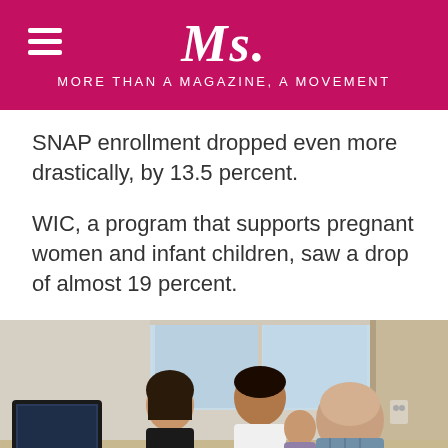Ms. MORE THAN A MAGAZINE, A MOVEMENT
SNAP enrollment dropped even more drastically, by 13.5 percent.
WIC, a program that supports pregnant women and infant children, saw a drop of almost 19 percent.
[Figure (photo): A family (woman in black top, man holding a baby) sitting across a desk from a bald man in a plaid shirt at what appears to be a WIC or government assistance office, with a computer monitor and keyboard visible on the desk.]